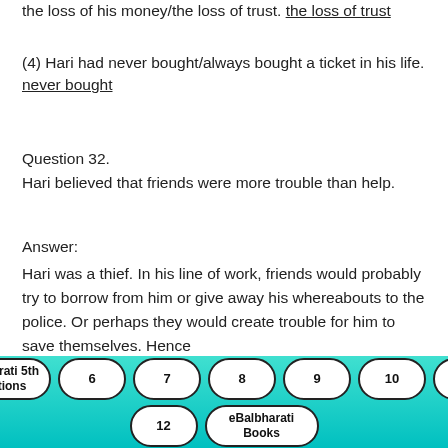the loss of his money/the loss of trust. the loss of trust
(4) Hari had never bought/always bought a ticket in his life. never bought
Question 32.
Hari believed that friends were more trouble than help.
Answer:
Hari was a thief. In his line of work, friends would probably try to borrow from him or give away his whereabouts to the police. Or perhaps they would create trouble for him to save themselves. Hence
Balbharati 5th Solutions  6  7  8  9  10  11  12  eBalbharati Books